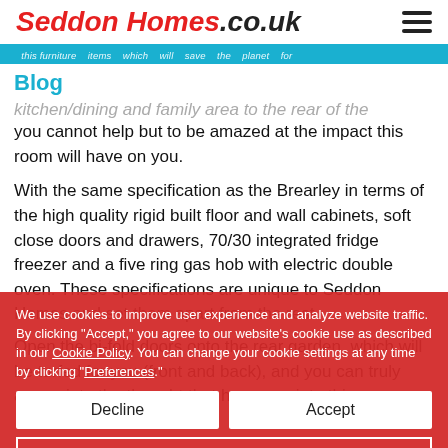Seddon Homes.co.uk
Blog
kitchen/dining and family area to the rear of the property, you cannot help but to be amazed at the impact this room will have on you.
With the same specification as the Brearley in terms of the high quality rigid built floor and wall cabinets, soft close doors and drawers, 70/30 integrated fridge freezer and a five ring gas hob with electric double oven. These specifications are unique to Seddon Homes and set them apart from the rest.
Open the bi-fold doors onto the rear garden, which will be turfed for you (front and back), and you can truly appreciate the thought that has gone into this new
We use cookies to improve user experience and analyze website traffic. By clicking "Accept," you agree to our website's cookie use as described in our Cookie Policy. You can change your cookie settings at any time by clicking "Preferences."